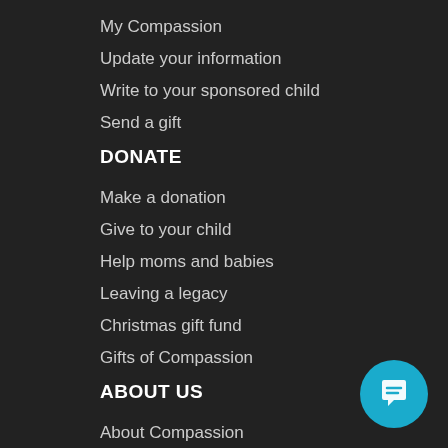My Compassion
Update your information
Write to your sponsored child
Send a gift
DONATE
Make a donation
Give to your child
Help moms and babies
Leaving a legacy
Christmas gift fund
Gifts of Compassion
ABOUT US
About Compassion
Statement of faith
History
Jesus and poverty